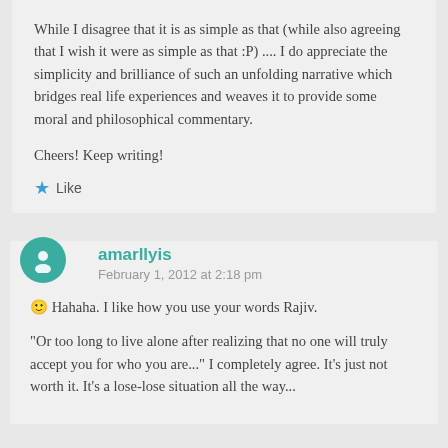While I disagree that it is as simple as that (while also agreeing that I wish it were as simple as that :P) .... I do appreciate the simplicity and brilliance of such an unfolding narrative which bridges real life experiences and weaves it to provide some moral and philosophical commentary.

Cheers! Keep writing!
Like
amarllyis
February 1, 2012 at 2:18 pm
🙂 Hahaha. I like how you use your words Rajiv.

"Or too long to live alone after realizing that no one will truly accept you for who you are..." I completely agree. It's just not worth it. It's a lose-lose situation all the way...